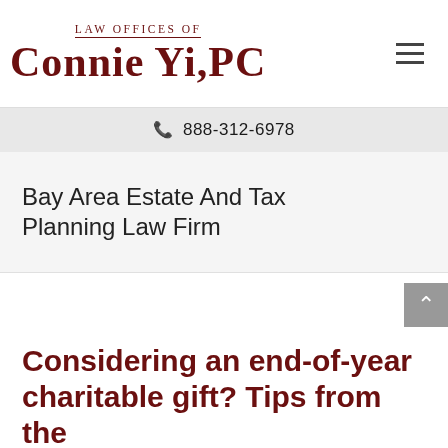Law Offices of Connie Yi, PC
888-312-6978
Bay Area Estate And Tax Planning Law Firm
Considering an end-of-year charitable gift? Tips from the IRS